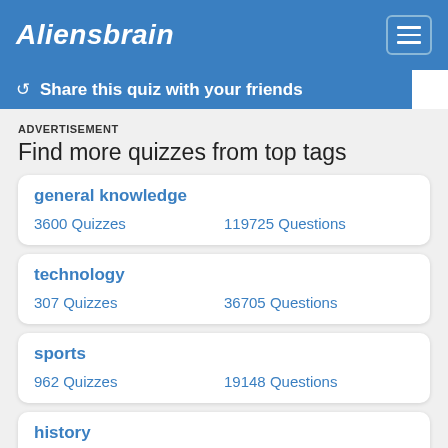Aliensbrain
Share this quiz with your friends
ADVERTISEMENT
Find more quizzes from top tags
general knowledge
3600 Quizzes    119725 Questions
technology
307 Quizzes    36705 Questions
sports
962 Quizzes    19148 Questions
history
1124 Quizzes    12955 Questions